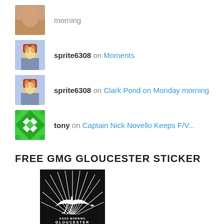morning
sprite6308 on Moments
sprite6308 on Clark Pond on Monday morning
tony on Captain Nick Novello Keeps F/V...
FREE GMG GLOUCESTER STICKER
[Figure (logo): Good Morning Gloucester sticker logo — black square with white seagull silhouette and sunburst, text reading GOOD MORNING GLOUCESTER My View of Life on the Dock]
As long as supplies last if any GMG folks want a bumper